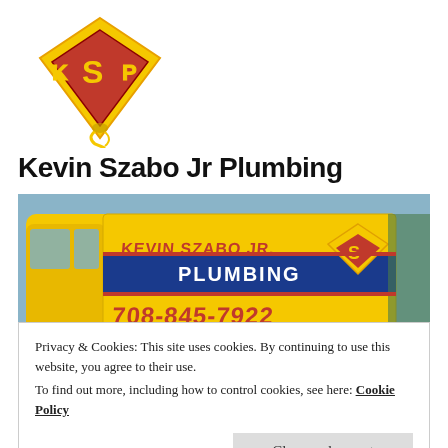[Figure (logo): KSP Superman-style logo with red diamond shield, yellow K S P letters and plumbing snake/tornado graphic]
Kevin Szabo Jr Plumbing
[Figure (photo): Yellow plumbing company van with 'Kevin Szabo Jr. Plumbing' text and phone number 708-845-7922 on the side]
Privacy & Cookies: This site uses cookies. By continuing to use this website, you agree to their use.
To find out more, including how to control cookies, see here: Cookie Policy
Close and accept